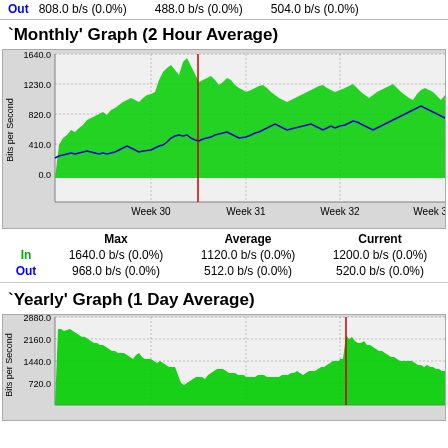Out   808.0 b/s (0.0%)   488.0 b/s (0.0%)   504.0 b/s (0.0%)
`Monthly' Graph (2 Hour Average)
[Figure (area-chart): Area/line chart showing In (green area) and Out (blue line) bits per second over weeks 30-33, with a red vertical marker near week 30-31 boundary. Y-axis: 0.0 to 1640.0. Green area peaks ~1640, blue line ~820.]
|  | Max | Average | Current |
| --- | --- | --- | --- |
| In | 1640.0 b/s (0.0%) | 1120.0 b/s (0.0%) | 1200.0 b/s (0.0%) |
| Out | 968.0 b/s (0.0%) | 512.0 b/s (0.0%) | 520.0 b/s (0.0%) |
`Yearly' Graph (1 Day Average)
[Figure (area-chart): Area chart showing In (green) bits per second over ~1 year. Y-axis labels: 720.0, 1440.0, 2160.0, 2880.0. Values start high ~2880, vary. Red vertical marker visible. Mostly green bars/area.]